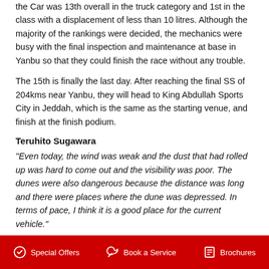the Car was 13th overall in the truck category and 1st in the class with a displacement of less than 10 litres. Although the majority of the rankings were decided, the mechanics were busy with the final inspection and maintenance at base in Yanbu so that they could finish the race without any trouble.
The 15th is finally the last day. After reaching the final SS of 204kms near Yanbu, they will head to King Abdullah Sports City in Jeddah, which is the same as the starting venue, and finish at the finish podium.
Teruhito Sugawara
“Even today, the wind was weak and the dust that had rolled up was hard to come out and the visibility was poor. The dunes were also dangerous because the distance was long and there were places where the dune was depressed. In terms of pace, I think it is a good place for the current vehicle.”
Hirokazu Somemiya
Special Offers   Book a Service   Brochures